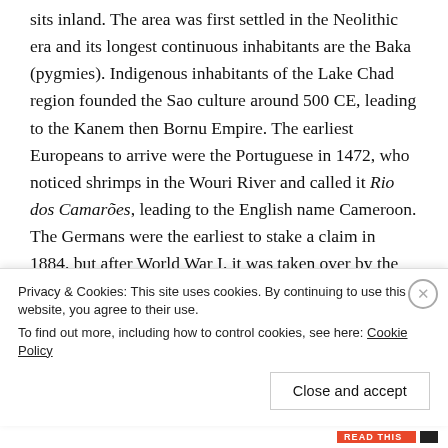sits inland. The area was first settled in the Neolithic era and its longest continuous inhabitants are the Baka (pygmies). Indigenous inhabitants of the Lake Chad region founded the Sao culture around 500 CE, leading to the Kanem then Bornu Empire. The earliest Europeans to arrive were the Portuguese in 1472, who noticed shrimps in the Wouri River and called it Rio dos Camarões, leading to the English name Cameroon. The Germans were the earliest to stake a claim in 1884, but after World War I, it was taken over by the League of Nations and split between French and much smaller British territories (the latter administered from Nigeria). France outlawed the independence movement UPC in 1955, leading to guerrilla with
Privacy & Cookies: This site uses cookies. By continuing to use this website, you agree to their use.
To find out more, including how to control cookies, see here: Cookie Policy
Close and accept